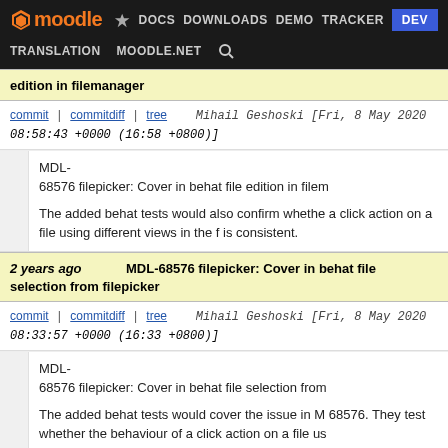Moodle | DOCS | DOWNLOADS | DEMO | TRACKER | DEV | TRANSLATION | MOODLE.NET
edition in filemanager
commit | commitdiff | tree   Mihail Geshoski [Fri, 8 May 2020 08:58:43 +0000 (16:58 +0800)]
MDL-68576 filepicker: Cover in behat file edition in filemanager

The added behat tests would also confirm whether a click action on a file using different views in the f is consistent.
2 years ago   MDL-68576 filepicker: Cover in behat file selection from filepicker
commit | commitdiff | tree   Mihail Geshoski [Fri, 8 May 2020 08:33:57 +0000 (16:33 +0800)]
MDL-68576 filepicker: Cover in behat file selection from filepicker

The added behat tests would cover the issue in MDL-68576. They test whether the behaviour of a click action on a file using different views in the filepicker is consistent.